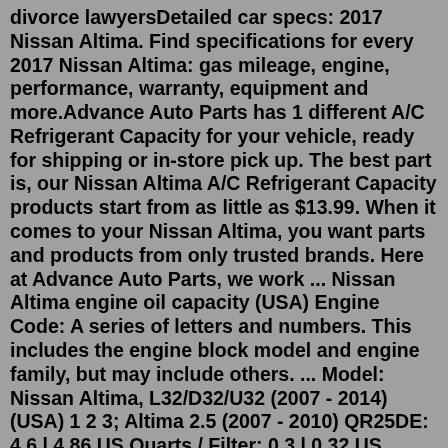divorce lawyersDetailed car specs: 2017 Nissan Altima. Find specifications for every 2017 Nissan Altima: gas mileage, engine, performance, warranty, equipment and more.Advance Auto Parts has 1 different A/C Refrigerant Capacity for your vehicle, ready for shipping or in-store pick up. The best part is, our Nissan Altima A/C Refrigerant Capacity products start from as little as $13.99. When it comes to your Nissan Altima, you want parts and products from only trusted brands. Here at Advance Auto Parts, we work ... Nissan Altima engine oil capacity (USA) Engine Code: A series of letters and numbers. This includes the engine block model and engine family, but may include others. ... Model: Nissan Altima, L32/D32/U32 (2007 - 2014) (USA) 1 2 3; Altima 2.5 (2007 - 2010) QR25DE: 4.6 l 4.86 US Quarts / Filter: 0.3 l 0.32 US Quarts:Refrigerant Type: R12/R134a Four Seasons A/C Compressor 98667 Part # 98667 SKU # 872942 2-Year Warranty Check if this fits your 2016 Nissan/Datsun Altima Check if this fits your 2016 Nissan/Datsun Altima